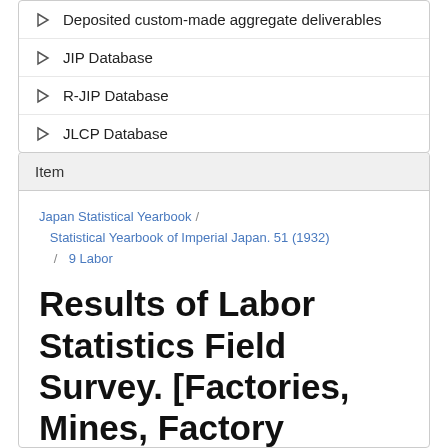Deposited custom-made aggregate deliverables
JIP Database
R-JIP Database
JLCP Database
Item
Japan Statistical Yearbook / Statistical Yearbook of Imperial Japan. 51 (1932) / 9 Labor
Results of Labor Statistics Field Survey. [Factories, Mines, Factory Workers and Miners by Industry and Scheduled Working